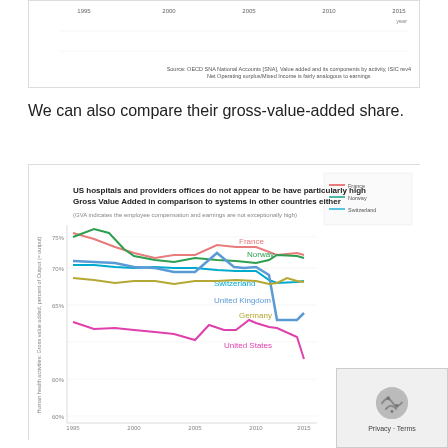[Figure (continuous-plot): Top partial chart showing year axis labels 1995, 2000, 2005, 2010, 2015 with source note about OECD SNA National Accounts data]
Source: OECD SNA National Accounts [SNA], Value added and its components by activity, ISIC rev4 Net Operating surplus/Mixed Income is fairly analogous to earnings
We can also compare their gross-value-added share.
[Figure (line-chart): US hospitals and providers offices do not appear to be have particularly high Gross Value Added in comparison to systems in other countries either]